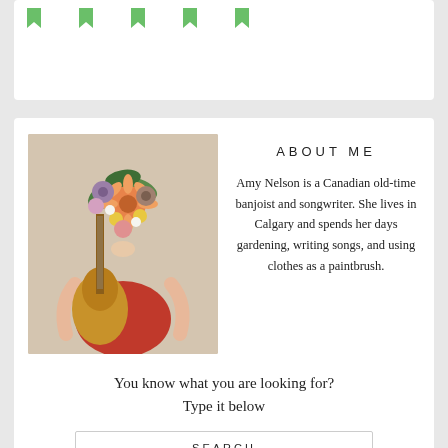[Figure (illustration): Five green bookmark/tag icons in a row at top of page]
[Figure (photo): Person holding a bouquet of colorful flowers covering their face, holding a guitar, wearing a red outfit]
ABOUT ME
Amy Nelson is a Canadian old-time banjoist and songwriter. She lives in Calgary and spends her days gardening, writing songs, and using clothes as a paintbrush.
You know what you are looking for? Type it below
SEARCH